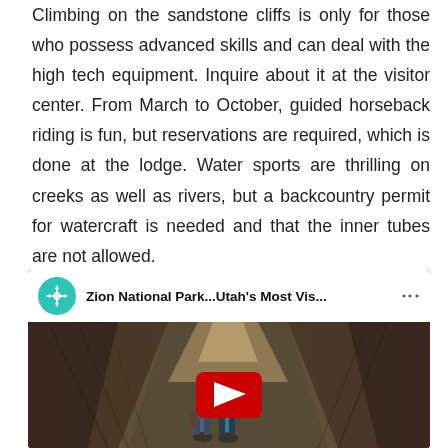Climbing on the sandstone cliffs is only for those who possess advanced skills and can deal with the high tech equipment. Inquire about it at the visitor center. From March to October, guided horseback riding is fun, but reservations are required, which is done at the lodge. Water sports are thrilling on creeks as well as rivers, but a backcountry permit for watercraft is needed and that the inner tubes are not allowed.
[Figure (screenshot): YouTube video thumbnail for 'Zion National Park...Utah's Most Vis...' showing two people standing in a narrow slot canyon with light streaming through, with a YouTube play button overlay. The video bar shows a teal/green circular channel icon with a crosshair symbol and the video title.]